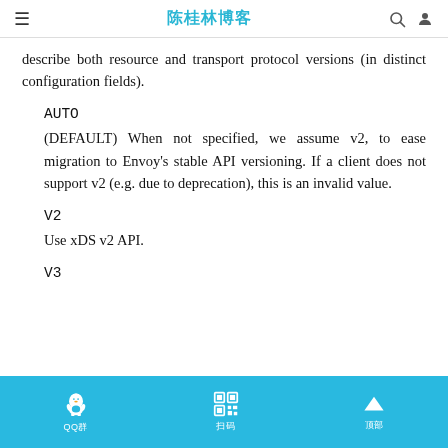陈桂林博客
describe both resource and transport protocol versions (in distinct configuration fields).
AUTO
(DEFAULT) When not specified, we assume v2, to ease migration to Envoy's stable API versioning. If a client does not support v2 (e.g. due to deprecation), this is an invalid value.
V2
Use xDS v2 API.
V3
QQ群  扫码  顶部